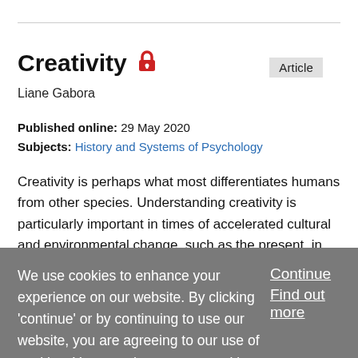Article
Creativity
Liane Gabora
Published online: 29 May 2020
Subjects: History and Systems of Psychology
Creativity is perhaps what most differentiates humans from other species. Understanding creativity is particularly important in times of accelerated cultural and environmental change, such as the present, in which novel approaches and perspectives are needed. The study of
We use cookies to enhance your experience on our website. By clicking 'continue' or by continuing to use our website, you are agreeing to our use of cookies. You can change your cookie settings at any time.
Continue
Find out more